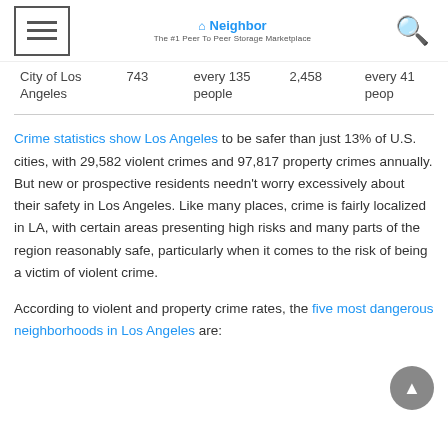Neighbor – The #1 Peer To Peer Storage Marketplace
| City of Los Angeles | 743 | every 135 people | 2,458 | every 41 peop |
Crime statistics show Los Angeles to be safer than just 13% of U.S. cities, with 29,582 violent crimes and 97,817 property crimes annually. But new or prospective residents needn't worry excessively about their safety in Los Angeles. Like many places, crime is fairly localized in LA, with certain areas presenting high risks and many parts of the region reasonably safe, particularly when it comes to the risk of being a victim of violent crime.
According to violent and property crime rates, the five most dangerous neighborhoods in Los Angeles are: